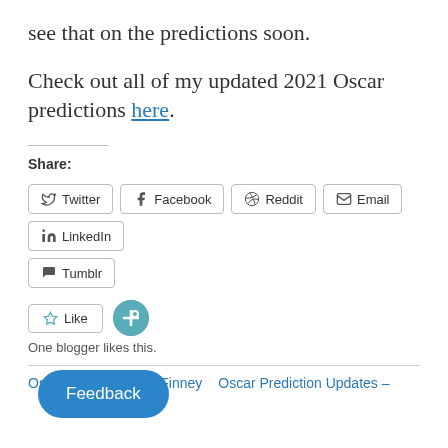see that on the predictions soon.
Check out all of my updated 2021 Oscar predictions here.
Share:
Twitter  Facebook  Reddit  Email  LinkedIn
Tumblr
Like
One blogger likes this.
Oscar Justice: Albert Finney
Oscar Prediction Updates –
[Figure (other): Feedback button overlay (teal rounded rectangle with white text 'Feedback')]